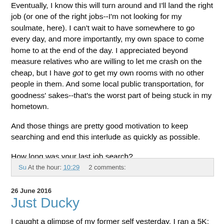Eventually, I know this will turn around and I'll land the right job (or one of the right jobs--I'm not looking for my soulmate, here). I can't wait to have somewhere to go every day, and more importantly, my own space to come home to at the end of the day. I appreciated beyond measure relatives who are willing to let me crash on the cheap, but I have got to get my own rooms with no other people in them. And some local public transportation, for goodness' sakes--that's the worst part of being stuck in my hometown.
And those things are pretty good motivation to keep searching and end this interlude as quickly as possible.
How long was your last job search?
Su At the hour: 10:29   2 comments:
26 June 2016
Just Ducky
I caught a glimpse of my former self yesterday. I ran a 5K: